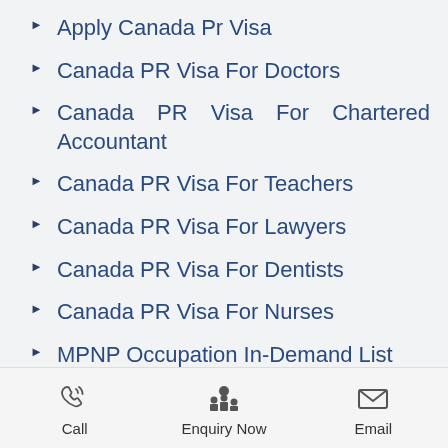Apply Canada Pr Visa
Canada PR Visa For Doctors
Canada PR Visa For Chartered Accountant
Canada PR Visa For Teachers
Canada PR Visa For Lawyers
Canada PR Visa For Dentists
Canada PR Visa For Nurses
MPNP Occupation In-Demand List
Canada PR Visa For...
Call   Enquiry Now   Email